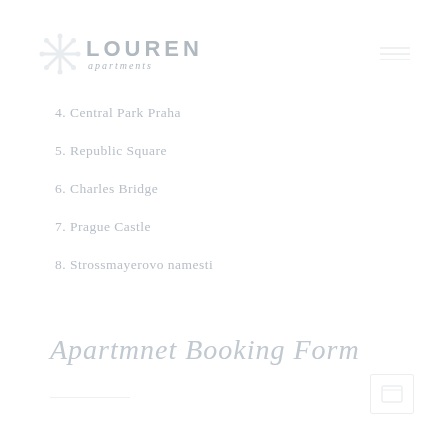[Figure (logo): Louren Apartments logo with snowflake/asterisk icon and text 'LOUREN apartments']
4. Central Park Praha
5. Republic Square
6. Charles Bridge
7. Prague Castle
8. Strossmayerovo namesti
Apartmnet Booking Form